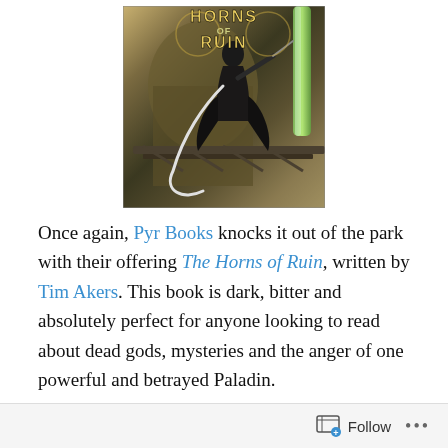[Figure (illustration): Book cover of 'Horns of Ruin' showing a female warrior in a steampunk industrial setting with the title text at the top]
Once again, Pyr Books knocks it out of the park with their offering The Horns of Ruin, written by Tim Akers. This book is dark, bitter and absolutely perfect for anyone looking to read about dead gods, mysteries and the anger of one powerful and betrayed Paladin.
Follow ...